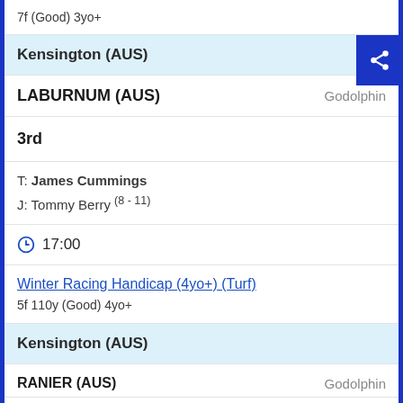7f (Good) 3yo+
Kensington (AUS)
LABURNUM (AUS)    Godolphin
3rd
T: James Cummings
J: Tommy Berry (8 - 11)
17:00
Winter Racing Handicap (4yo+) (Turf)
5f 110y (Good) 4yo+
Kensington (AUS)
RANIER (AUS)    Godolphin